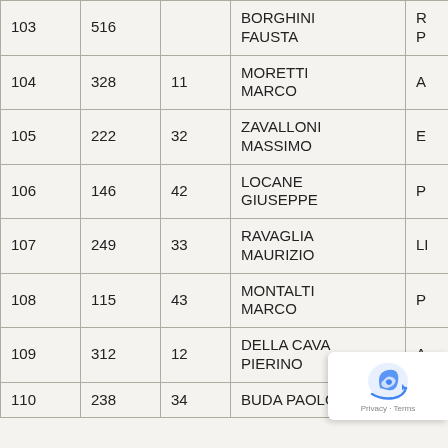|  |  |  |  |  |
| --- | --- | --- | --- | --- |
| 103 | 516 |  | BORGHINI
FAUSTA | R P |
| 104 | 328 | 11 | MORETTI
MARCO | A |
| 105 | 222 | 32 | ZAVALLONI
MASSIMO | E |
| 106 | 146 | 42 | LOCANE
GIUSEPPE | P |
| 107 | 249 | 33 | RAVAGLIA
MAURIZIO | LI |
| 108 | 115 | 43 | MONTALTI
MARCO | P |
| 109 | 312 | 12 | DELLA CAVA
PIERINO | A |
| 110 | 238 | 34 | BUDA PAOLO |  |